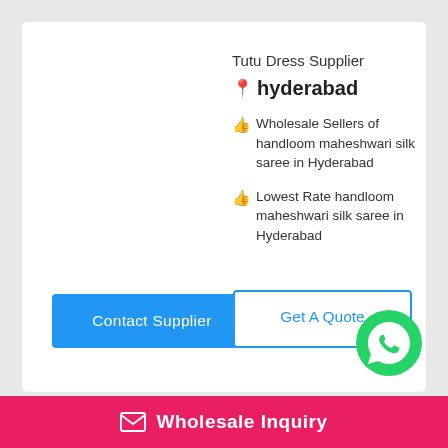Tutu Dress Supplier
hyderabad
Wholesale Sellers of handloom maheshwari silk saree in Hyderabad
Lowest Rate handloom maheshwari silk saree in Hyderabad
Contact Supplier
Get A Quote
[Figure (logo): WhatsApp green circle logo]
Wholesale Inquiry